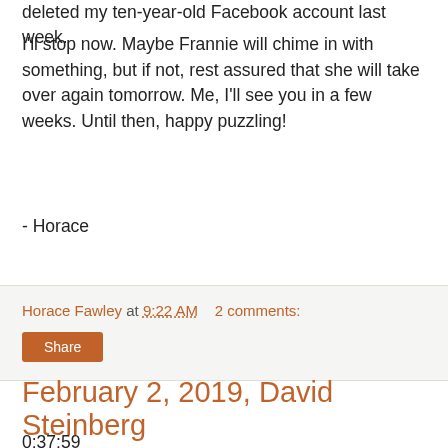deleted my ten-year-old Facebook account last week.
I'll stop now. Maybe Frannie will chime in with something, but if not, rest assured that she will take over again tomorrow. Me, I'll see you in a few weeks. Until then, happy puzzling!
- Horace
Horace Fawley at 9:22 AM    2 comments:
Share
February 2, 2019, David Steinberg
0:37:59
Well, it's nice to know Steinberg can still uncork a corker! I can just imagine him reading a review about how Fridays